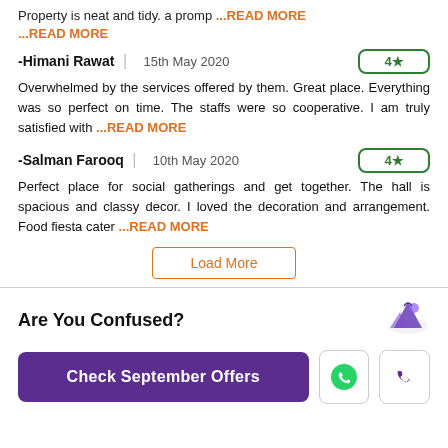Property is neat and tidy. a promp ...READ MORE ...READ MORE
-Himani Rawat | 15th May 2020 | Rating: 4★
Overwhelmed by the services offered by them. Great place. Everything was so perfect on time. The staffs were so cooperative. I am truly satisfied with ...READ MORE
-Salman Farooq | 10th May 2020 | Rating: 4★
Perfect place for social gatherings and get together. The hall is spacious and classy decor. I loved the decoration and arrangement. Food fiesta cater ...READ MORE
Load More
Are You Confused?
Check September Offers